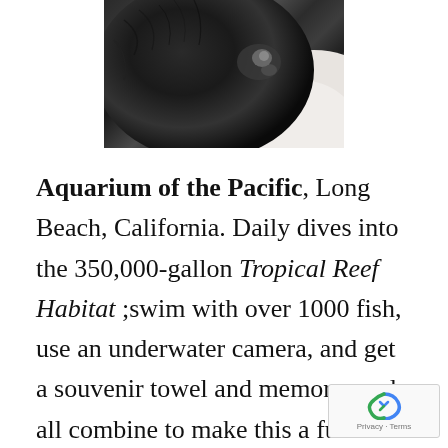[Figure (photo): Close-up photograph of a dark/black animal (likely a sea otter or similar marine mammal) with wet dark fur, partially against a light/white background]
Aquarium of the Pacific, Long Beach, California. Daily dives into the 350,000-gallon Tropical Reef Habitat ;swim with over 1000 fish, use an underwater camera, and get a souvenir towel and memory card all combine to make this a fun dive. All equipment is provided, but